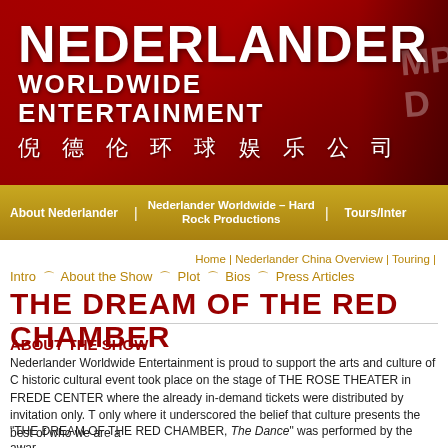[Figure (logo): Nederlander Worldwide Entertainment logo banner with red gradient background and Chinese characters, partial Times Square billboard image on right]
About Nederlander | Nederlander Worldwide – Hard Rock Productions | Tours/Inter
Home | Nederlander China Overview | Touring |
Intro ➾ About the Show ➾ Plot ➾ Bios ➾ Press Articles
THE DREAM OF THE RED CHAMBER
ABOUT THE SHOW
Nederlander Worldwide Entertainment is proud to support the arts and culture of C historic cultural event took place on the stage of THE ROSE THEATER in FREDE CENTER where the already in-demand tickets were distributed by invitation only. T only where it underscored the belief that culture presents the best of who we are a
"THE DREAM OF THE RED CHAMBER, The Dance" was performed by the awar